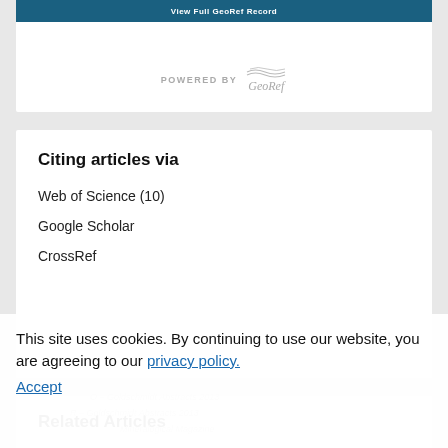[Figure (other): Top white card with a teal 'View Full GeoRef Record' button and 'POWERED BY GeoRef' logo at the bottom]
Citing articles via
Web of Science (10)
Google Scholar
CrossRef
Related Articles
This site uses cookies. By continuing to use our website, you are agreeing to our privacy policy. Accept